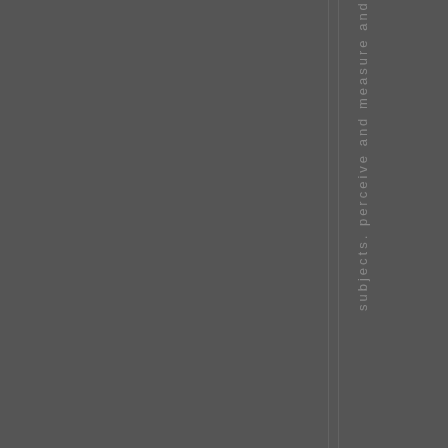subjects. perceive and measure and